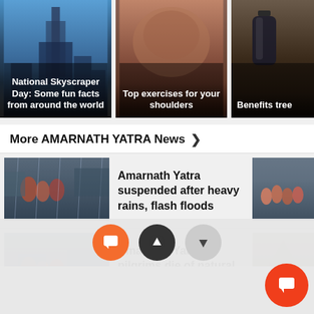[Figure (photo): Three image cards in a row: 1) National Skyscraper Day article with city skyline background, 2) Top exercises for your shoulders with muscles background, 3) Benefits (tree) partially visible with bottle background]
More AMARNATH YATRA News >
[Figure (photo): News thumbnail of pilgrims in rain on the left side of first news item]
Amarnath Yatra suspended after heavy rains, flash floods
[Figure (photo): News thumbnail on right side of first news item showing crowd]
[Figure (photo): News thumbnail of pilgrims on the left side of second news item]
Amarnath Yatra: 8 pilgrims die of natural causes
[Figure (photo): News thumbnail on right side of second news item showing mountain/landslide]
[Figure (screenshot): Three navigation buttons: orange chat/comment button, dark grey up arrow button, light grey down arrow button]